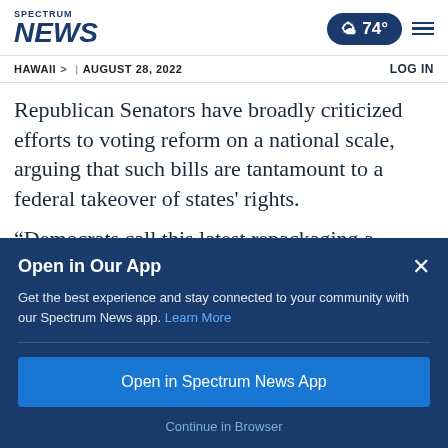SPECTRUM NEWS | 74° | HAWAII > | AUGUST 28, 2022 | LOG IN
Republican Senators have broadly criticized efforts to voting reform on a national scale, arguing that such bills are tantamount to a federal takeover of states' rights.
“Democrats call this latest repackaging a
[Figure (screenshot): App install prompt overlay with dark blue background. Title: 'Open in Our App' with X close button. Body: 'Get the best experience and stay connected to your community with our Spectrum News app. Learn More'. Button: 'Open in Spectrum News App'. Link: 'Continue in Browser']